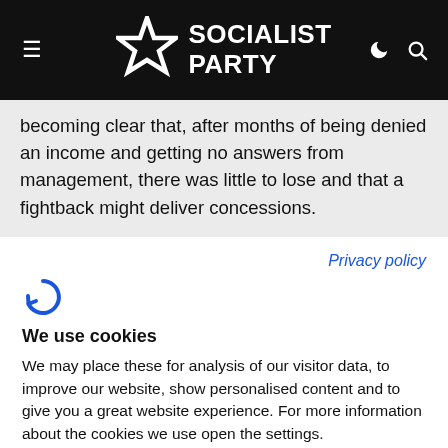Socialist Party
becoming clear that, after months of being denied an income and getting no answers from management, there was little to lose and that a fightback might deliver concessions.
Privacy policy
[Figure (logo): Cookiebot logo icon - a circular arrow forming a C shape in blue]
We use cookies
We may place these for analysis of our visitor data, to improve our website, show personalised content and to give you a great website experience. For more information about the cookies we use open the settings.
Accept all
Deny
No, adjust